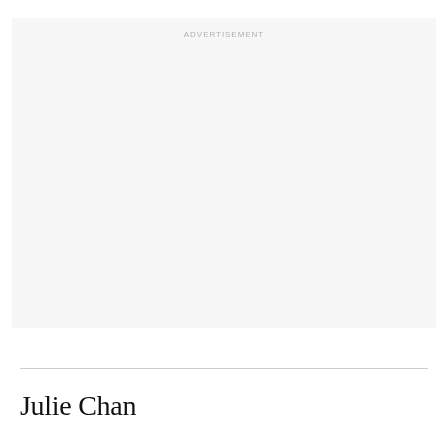[Figure (other): Advertisement placeholder block with light gray background and 'ADVERTISEMENT' label at top center]
Julie Chan